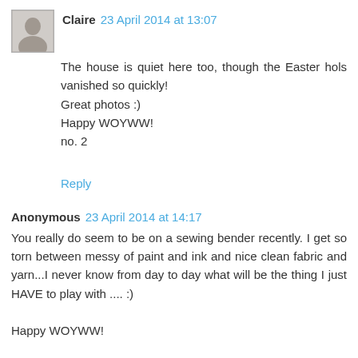[Figure (photo): Small grayscale avatar/profile photo of a person]
Claire 23 April 2014 at 13:07
The house is quiet here too, though the Easter hols vanished so quickly!
Great photos :)
Happy WOYWW!
no. 2
Reply
Anonymous 23 April 2014 at 14:17
You really do seem to be on a sewing bender recently. I get so torn between messy of paint and ink and nice clean fabric and yarn...I never know from day to day what will be the thing I just HAVE to play with .... :)

Happy WOYWW!

Mary Anne (1)
Reply